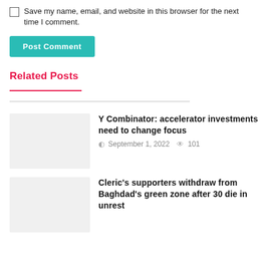Save my name, email, and website in this browser for the next time I comment.
Post Comment
Related Posts
Y Combinator: accelerator investments need to change focus
September 1, 2022  101
[Figure (photo): Placeholder thumbnail image for Y Combinator article]
Cleric's supporters withdraw from Baghdad's green zone after 30 die in unrest
[Figure (photo): Placeholder thumbnail image for Cleric article]